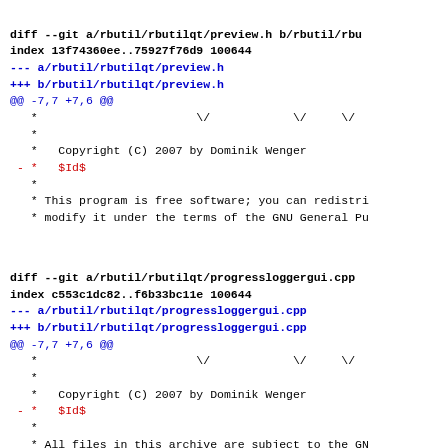diff --git a/rbutil/rbutilqt/preview.h b/rbutil/rbu
index 13f74360ee..75927f76d9 100644
--- a/rbutil/rbutilqt/preview.h
+++ b/rbutil/rbutilqt/preview.h
@@ -7,7 +7,6 @@
    *                       \/            \/     \/
    *
    *   Copyright (C) 2007 by Dominik Wenger
 - *   $Id$
    *
    * This program is free software; you can redistri
    * modify it under the terms of the GNU General Pu
diff --git a/rbutil/rbutilqt/progressloggergui.cpp
index c553c1dc82..f6b33bc11e 100644
--- a/rbutil/rbutilqt/progressloggergui.cpp
+++ b/rbutil/rbutilqt/progressloggergui.cpp
@@ -7,7 +7,6 @@
    *                       \/            \/     \/
    *
    *   Copyright (C) 2007 by Dominik Wenger
 - *   $Id$
    *
    * All files in this archive are subject to the GN
    * See the file COPYING in the source tree root fo
diff --git a/rbutil/rbutilqt/progressloggergui.h b/
index 1e62fac7cd..8650b9760a 100644
--- a/rbutil/rbutilqt/progressloggergui.h
+++ b/rbutil/rbutilqt/progressloggergui.h